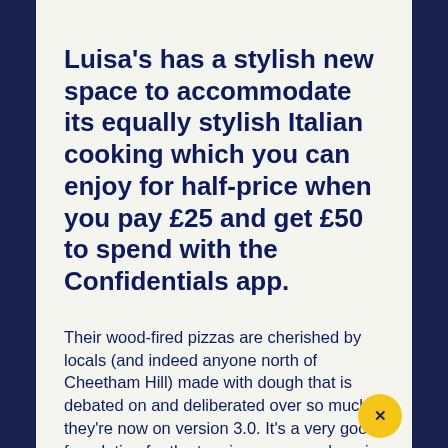Luisa's has a stylish new space to accommodate its equally stylish Italian cooking which you can enjoy for half-price when you pay £25 and get £50 to spend with the Confidentials app.
Their wood-fired pizzas are cherished by locals (and indeed anyone north of Cheetham Hill) made with dough that is debated on and deliberated over so much they're now on version 3.0. It's a very good foundation for the toppings – a popular mix of old-